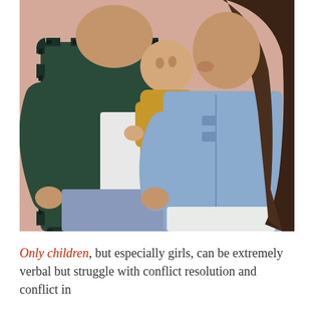[Figure (photo): A man and woman holding a baby together against a pink/salmon wall. The man on the left wears a dark green plaid flannel shirt and blue jeans. The woman on the right wears a light blue denim jacket and white pants. The baby is dressed in a yellow/mustard outfit. The woman is kissing the baby's cheek.]
Only children, but especially girls, can be extremely verbal but struggle with conflict resolution and conflict in